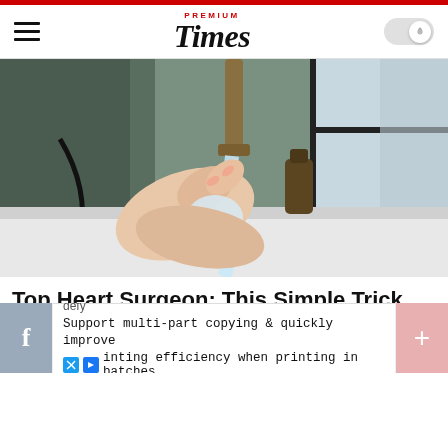Premium Times
[Figure (photo): Hands holding a sponge under running water from a faucet at a sink, with a window and soap dispenser in the background]
Top Heart Surgeon: This Simple Trick Helps Empty Your Bowels Every Morning
[Figure (screenshot): Advertisement banner: defy - Support multi-part copying & quickly improve printing efficiency when printing in batches]